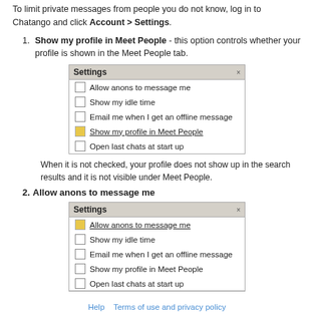To limit private messages from people you do not know, log in to Chatango and click Account > Settings.
Show my profile in Meet People - this option controls whether your profile is shown in the Meet People tab.
[Figure (screenshot): Settings dialog box showing checkboxes: Allow anons to message me, Show my idle time, Email me when I get an offline message, Show my profile in Meet People (checked/highlighted), Open last chats at start up]
When it is not checked, your profile does not show up in the search results and it is not visible under Meet People.
Allow anons to message me
[Figure (screenshot): Settings dialog box showing checkboxes: Allow anons to message me (checked/highlighted), Show my idle time, Email me when I get an offline message, Show my profile in Meet People, Open last chats at start up (partially visible)]
Help    Terms of use and privacy policy